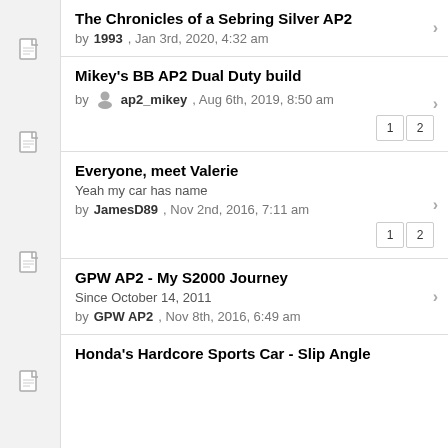The Chronicles of a Sebring Silver AP2 | by 1993, Jan 3rd, 2020, 4:32 am
Mikey's BB AP2 Dual Duty build | by ap2_mikey, Aug 6th, 2019, 8:50 am | pages: 1 2
Everyone, meet Valerie | Yeah my car has name | by JamesD89, Nov 2nd, 2016, 7:11 am | pages: 1 2
GPW AP2 - My S2000 Journey | Since October 14, 2011 | by GPW AP2, Nov 8th, 2016, 6:49 am
Honda's Hardcore Sports Car - Slip Angle